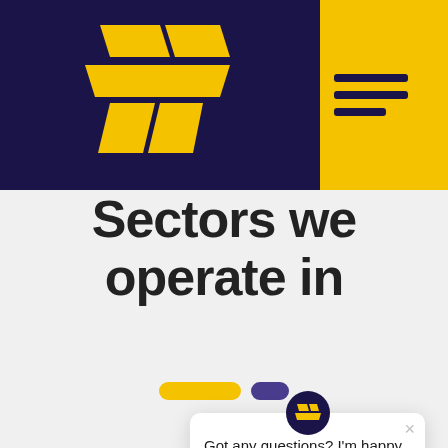[Figure (logo): Yellow geometric diamond/T-shaped logo on dark navy background header, with yellow hamburger menu on the right]
Sectors we operate in
[Figure (infographic): Slider dots: one wide yellow pill and one smaller purple pill, indicating carousel position]
[Figure (screenshot): Chat popup overlay with brand avatar icon, X close button, and text 'Got any questions? I'm happy to help.']
Got any questions? I'm happy to help.
[Figure (infographic): Magnifying glass icon with bar chart inside, yellow handle, dark blue bars]
[Figure (infographic): US flag emoji with 'English' language selector in dark rounded pill badge]
[Figure (infographic): Yellow circular chat FAB button with speech bubble icon]